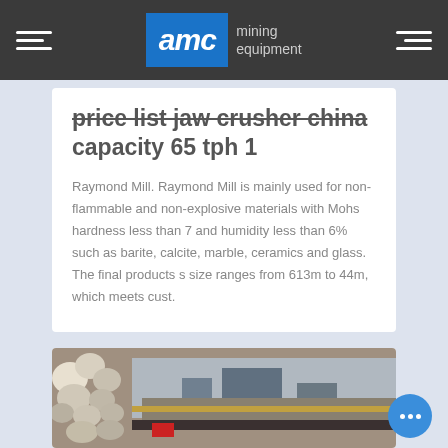AMC mining equipment
price list jaw crusher china capacity 65 tph 1
Raymond Mill. Raymond Mill is mainly used for non-flammable and non-explosive materials with Mohs hardness less than 7 and humidity less than 6% such as barite, calcite, marble, ceramics and glass. The final products s size ranges from 613m to 44m, which meets cust.
[Figure (photo): Photo of rocks/aggregates and mining equipment machinery in the background]